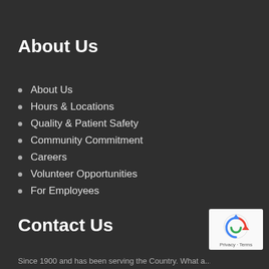About Us
About Us
Hours & Locations
Quality & Patient Safety
Community Commitment
Careers
Volunteer Opportunities
For Employees
Contact Us
[Figure (logo): reCAPTCHA badge with Privacy and Terms text]
Since 1900 and has been serving the Country. What a...